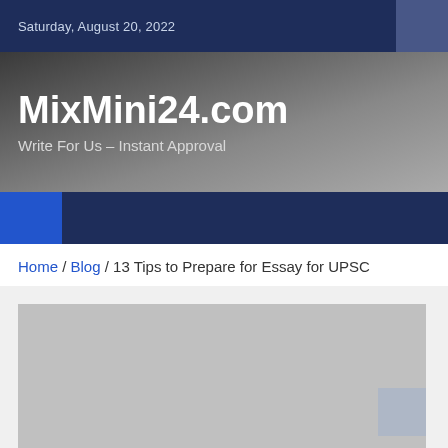Saturday, August 20, 2022
MixMini24.com
Write For Us – Instant Approval
Home / Blog / 13 Tips to Prepare for Essay for UPSC
[Figure (photo): Large placeholder image area (gray rectangle) for article featured image]